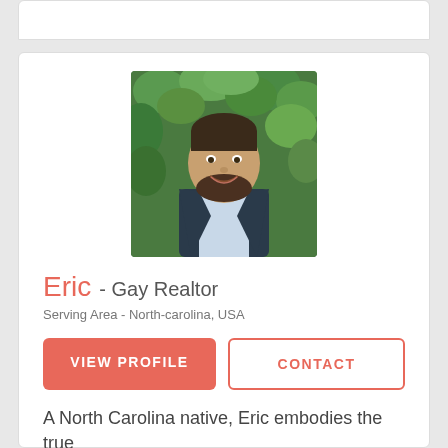[Figure (photo): Professional headshot of Eric, a man with a beard wearing a dark blazer and light shirt, smiling against a green leafy background]
Eric - Gay Realtor
Serving Area - North-carolina, USA
VIEW PROFILE
CONTACT
A North Carolina native, Eric embodies the true